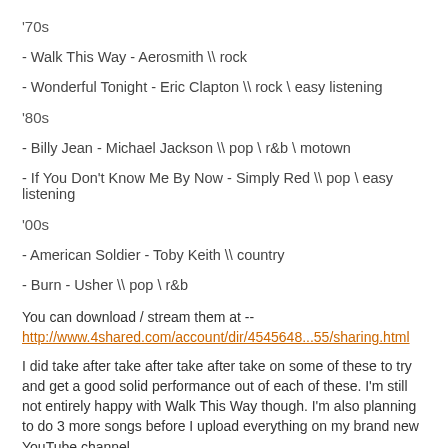'70s
- Walk This Way - Aerosmith \\ rock
- Wonderful Tonight - Eric Clapton \\ rock \ easy listening
'80s
- Billy Jean - Michael Jackson \\ pop \ r&b \ motown
- If You Don't Know Me By Now - Simply Red \\ pop \ easy listening
'00s
- American Soldier - Toby Keith \\ country
- Burn - Usher \\ pop \ r&b
You can download / stream them at --
http://www.4shared.com/account/dir/4545648...55/sharing.html
I did take after take after take after take on some of these to try and get a good solid performance out of each of these. I'm still not entirely happy with Walk This Way though. I'm also planning to do 3 more songs before I upload everything on my brand new YouTube channel.